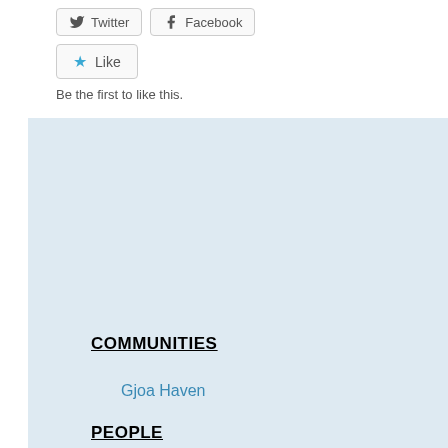[Figure (screenshot): Social share buttons: Twitter and Facebook]
[Figure (screenshot): Like button with star icon]
Be the first to like this.
COMMUNITIES
Gjoa Haven
PEOPLE
Project Co-Leads
Emmelie Paquette (MSc Student, Carleton University)